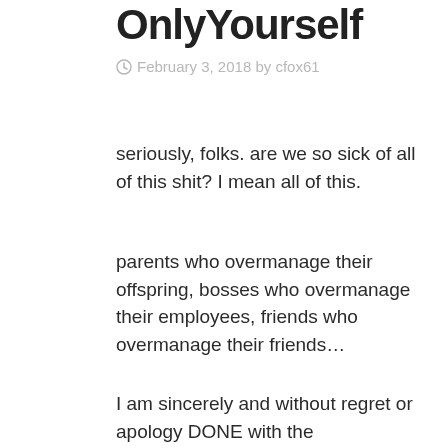OnlyYourself
February 3, 2018 by cfox61
seriously, folks. are we so sick of all of this shit? I mean all of this.
parents who overmanage their offspring, bosses who overmanage their employees, friends who overmanage their friends...
I am sincerely and without regret or apology DONE with the overmanagers.
if you want to do my job, well then, voila! it's yours.